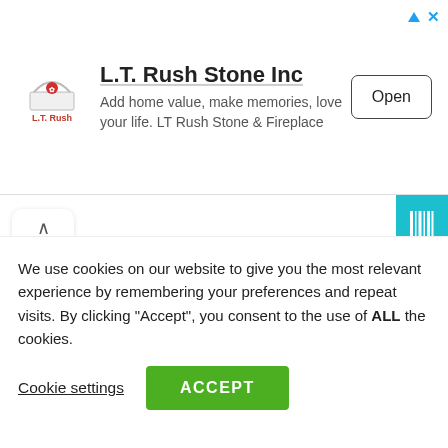[Figure (infographic): Advertisement banner for L.T. Rush Stone Inc with logo, tagline, and Open button]
L.T. Rush Stone Inc
Add home value, make memories, love your life. LT Rush Stone & Fireplace
National Land Commission
FULL TIME
Dated Posted:
Posted 6 months ago
We use cookies on our website to give you the most relevant experience by remembering your preferences and repeat visits. By clicking “Accept”, you consent to the use of ALL the cookies.
Cookie settings
ACCEPT